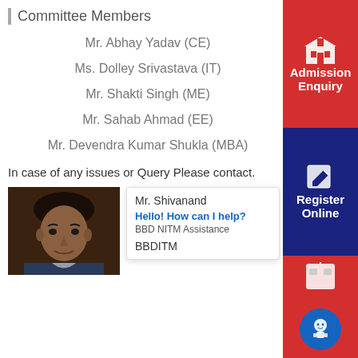Committee Members
Mr. Abhay Yadav (CE)
Ms. Dolley Srivastava (IT)
Mr. Shakti Singh (ME)
Mr. Sahab Ahmad (EE)
Mr. Devendra Kumar Shukla (MBA)
In case of any issues or Query Please contact.
[Figure (photo): Photo of Mr. Shivanand]
Mr. Shivanand
Hello! How can I help?
BBD NITM Assistance
BBDITM
[Figure (infographic): Sidebar with Admission Enquiry (red), Register Online (dark blue), and chatbot icon (red with blue bot circle)]